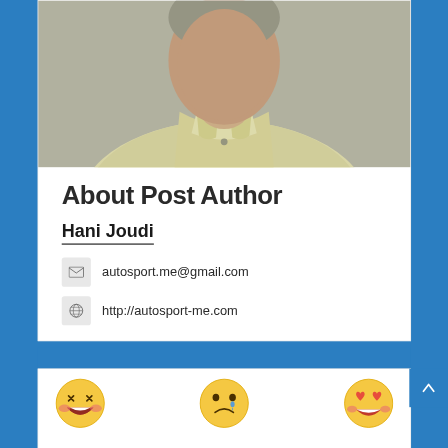[Figure (photo): Cropped photo of a man wearing a light yellow polo shirt, top portion visible]
About Post Author
Hani Joudi
autosport.me@gmail.com
http://autosport-me.com
[Figure (illustration): Three emoji faces: laughing face with tears, sad face with tear, heart-eyes smiling face]